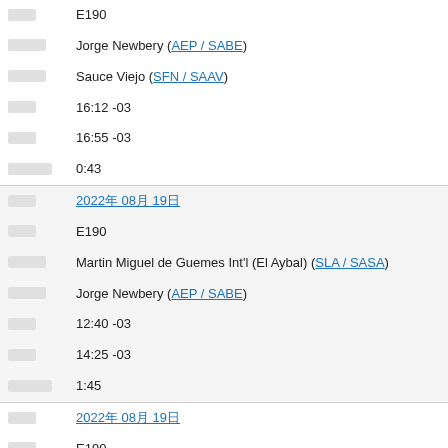|  | E190 |
|  | Jorge Newbery (AEP / SABE) |
|  | Sauce Viejo (SFN / SAAV) |
|  | 16:12 -03 |
|  | 16:55 -03 |
|  | 0:43 |
|  | 2022年08月19日 |
|  | E190 |
|  | Martin Miguel de Guemes Int'l (El Aybal) (SLA / SASA) |
|  | Jorge Newbery (AEP / SABE) |
|  | 12:40 -03 |
|  | 14:25 -03 |
|  | 1:45 |
|  | 2022年08月19日 |
|  | E190 |
|  | Jorge Newbery (AEP / SABE) |
|  | Martin Miguel de Guemes Int'l (El Aybal) (SLA / SASA) |
|  | 09:55 -03 |
|  | 11:42 -03 (?) |